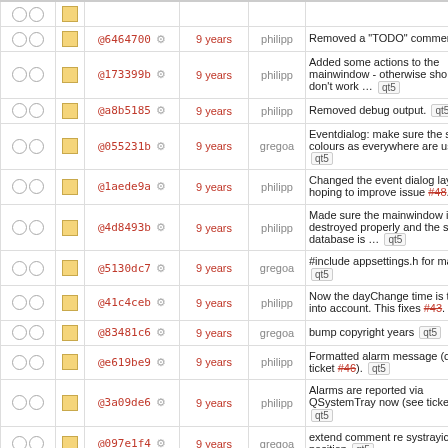| checks | icon | hash | age | author | message |
| --- | --- | --- | --- | --- | --- |
| ○ ○ | □ | @6464700 ⚙ | 9 years | philipp | Removed a "TODO" comment. qt5 |
| ○ ○ | □ | @173399b ⚙ | 9 years | philipp | Added some actions to the mainwindow - otherwise shortcuts don't work … qt5 |
| ○ ○ | □ | @a8b5185 ⚙ | 9 years | philipp | Removed debug output. qt5 |
| ○ ○ | □ | @055231b ⚙ | 9 years | gregoa | Eventdialog: make sure the same colours as everywhere are used. … qt5 |
| ○ ○ | □ | @1aede9a ⚙ | 9 years | philipp | Changed the event dialog layout hoping to improve issue #48. qt5 |
| ○ ○ | □ | @4d8493b ⚙ | 9 years | philipp | Made sure the mainwindow is destroyed properly and the sql database is … qt5 |
| ○ ○ | □ | @5130dc7 ⚙ | 9 years | gregoa | #include appsettings.h for maemo. qt5 |
| ○ ○ | □ | @41c4ceb ⚙ | 9 years | philipp | Now the dayChange time is taken into account. This fixes #43. qt5 |
| ○ ○ | □ | @83481c6 ⚙ | 9 years | gregoa | bump copyright years qt5 |
| ○ ○ | □ | @e619be9 ⚙ | 9 years | philipp | Formatted alarm message (closes ticket #46). qt5 |
| ○ ○ | □ | @3a09de6 ⚙ | 9 years | philipp | Alarms are reported via QSystemTray now (see ticket #46). qt5 |
| ○ ○ | □ | @097e1f4 ⚙ | 9 years | gregoa | extend comment re systrayicon position qt5 |